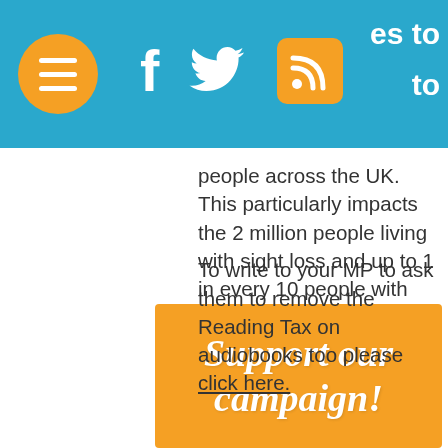Navigation header with menu button, Facebook, Twitter, RSS social icons
people across the UK. This particularly impacts the 2 million people living with sight loss and up to 1 in every 10 people with some form of dyslexia in the UK.
To write to your MP to ask them to remove the Reading Tax on audiobooks too please click here.
Support our campaign!